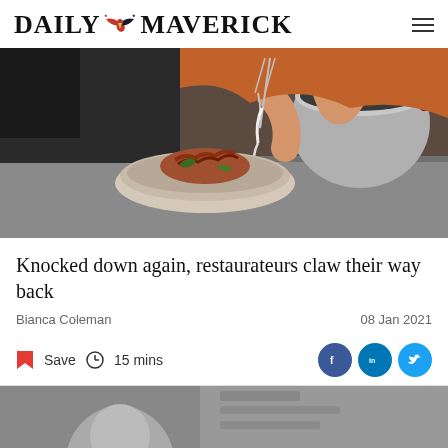DAILY MAVERICK
[Figure (photo): Chef's hands plating a gourmet dish — pouring sauce from a saucepan onto a beautifully presented food item in a rustic ceramic bowl on a kitchen counter.]
Knocked down again, restaurateurs claw their way back
Bianca Coleman
08 Jan 2021
Save  15 mins
[Figure (photo): Partial view of a person's face/portrait — bottom portion of page, partially visible.]